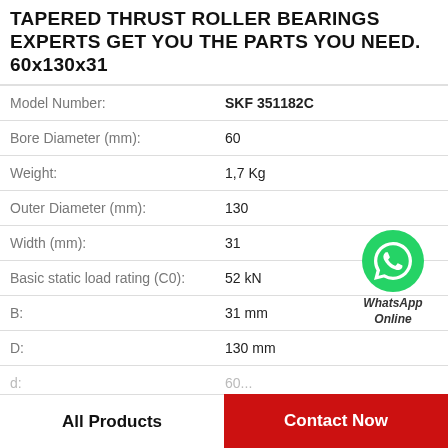TAPERED THRUST ROLLER BEARINGS EXPERTS GET YOU THE PARTS YOU NEED. 60x130x31
| Property | Value |
| --- | --- |
| Model Number: | SKF 351182C |
| Bore Diameter (mm): | 60 |
| Weight: | 1,7 Kg |
| Outer Diameter (mm): | 130 |
| Width (mm): | 31 |
| Basic static load rating (C0): | 52 kN |
| B: | 31 mm |
| D: | 130 mm |
[Figure (logo): WhatsApp Online green circle phone icon with text WhatsApp Online]
All Products
Contact Now